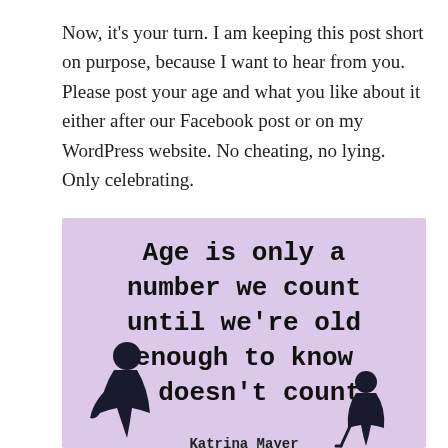Now, it's your turn. I am keeping this post short on purpose, because I want to hear from you. Please post your age and what you like about it either after our Facebook post or on my WordPress website. No cheating, no lying. Only celebrating.
[Figure (illustration): Light purple/lavender background image with a quote in bold typewriter font reading 'Age is only a number we count until we're old enough to know it doesn't count.' attributed to Katrina Mayer, with black silhouettes of a child and an elderly person at the bottom.]